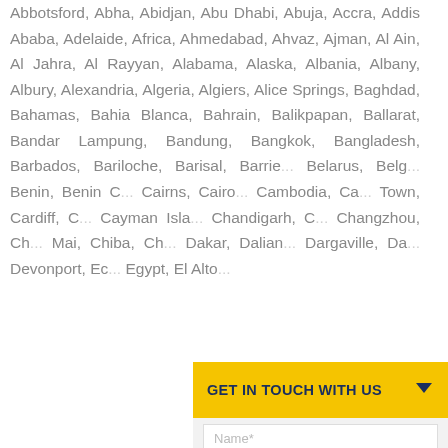Abbotsford, Abha, Abidjan, Abu Dhabi, Abuja, Accra, Addis Ababa, Adelaide, Africa, Ahmedabad, Ahvaz, Ajman, Al Ain, Al Jahra, Al Rayyan, Alabama, Alaska, Albania, Albany, Albury, Alexandria, Algeria, Algiers, Alice Springs, Baghdad, Bahamas, Bahia Blanca, Bahrain, Balikpapan, Ballarat, Bandar Lampung, Bandung, Bangkok, Bangladesh, Barbados, Bariloche, Barisal, Barrie..., Belarus, Belg..., Benin, Benin C..., Cairns, Cairo..., Cambodia, Ca..., Town, Cardiff, C..., Cayman Isla..., Chandigarh, C..., Changzhou, C..., Mai, Chiba, Ch..., Dakar, Dalian..., Dargaville, Da..., Devonport, Ec..., Egypt, El Alto...
GET IN TOUCH WITH US
Name*
Email*
Phone*
Select Country
Details